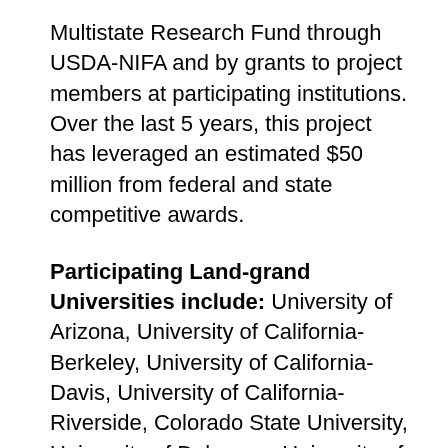Multistate Research Fund through USDA-NIFA and by grants to project members at participating institutions. Over the last 5 years, this project has leveraged an estimated $50 million from federal and state competitive awards.
Participating Land-grand Universities include: University of Arizona, University of California-Berkeley, University of California-Davis, University of California-Riverside, Colorado State University, University of Delaware, University of Idaho, Iowa State University, University of Kentucky, Michigan State University, University of Minnesota, Montana State University, University of Nevada-Reno, University of Nevada-Las Vegas, Desert Research Institute, New Mexico State